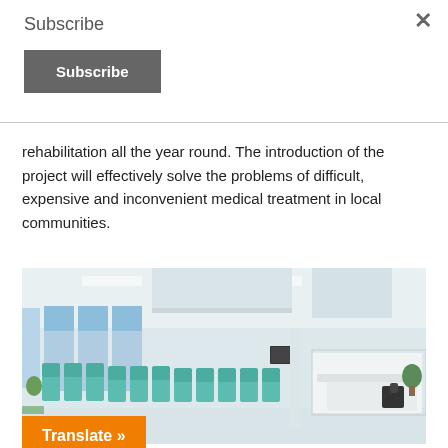Subscribe
Subscribe
rehabilitation all the year round. The introduction of the project will effectively solve the problems of difficult, expensive and inconvenient medical treatment in local communities.
[Figure (photo): Interior of a modern hospital waiting room with rows of teal/green recliner chairs, large windows, white ceiling with recessed lighting, and a reception desk on the right side.]
Translate »